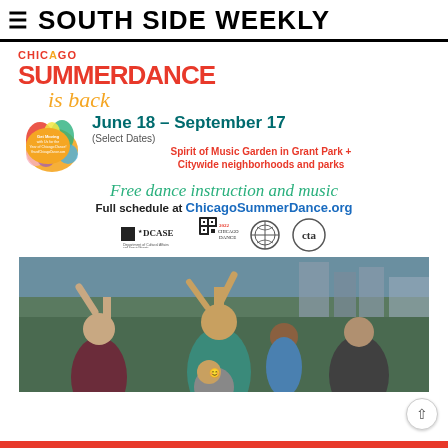SOUTH SIDE WEEKLY
[Figure (infographic): Chicago SummerDance advertisement. Text reads: Chicago SummerDance is back. June 18 - September 17 (Select Dates). Spirit of Music Garden in Grant Park + Citywide neighborhoods and parks. Free dance instruction and music. Full schedule at ChicagoSummerDance.org. Logos for DCASE, Chicago Dance, and CTA shown at bottom.]
[Figure (photo): Outdoor photo of people dancing joyfully at what appears to be a summer outdoor event, with city buildings in the background. A woman in a teal top, a man in a maroon shirt, a child, and others are visible, all raising their hands and smiling.]